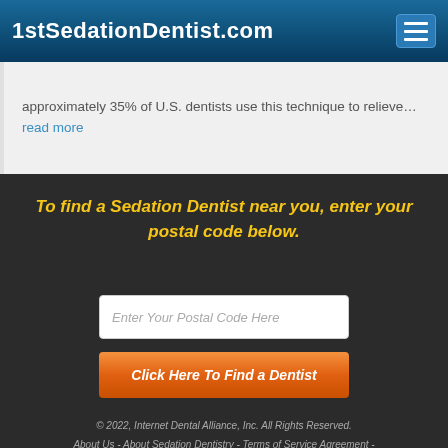1stSedationDentist.com
approximately 35% of U.S. dentists use this technique to relieve... read more
To find a Sedation Dentist near you, enter your postal code below.
Enter Your Postal Code Here
Click Here To Find a Dentist
© 2022, Internet Dental Alliance, Inc. All Rights Reserved. About Us - About Sedation Dentistry - Terms of Service Agreement - Privacy Policy - Accessibility Statement - Doctor Registration